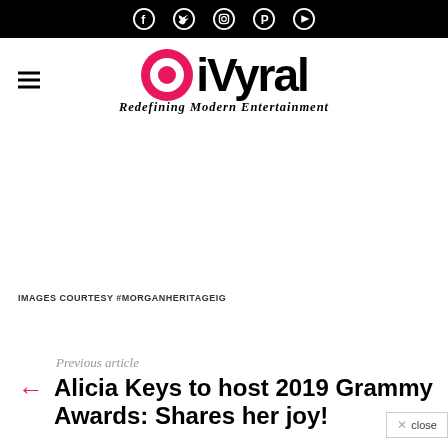Social media icons: Facebook, Twitter, Instagram, Pinterest, YouTube
[Figure (logo): iVyral logo with pink target/bullseye icon and bold black text 'iVyral', tagline 'Redefining Modern Entertainment']
[Figure (photo): Blank/white image area for article images]
IMAGES COURTESY #MORGANHERITAGEIG
Previous article
Alicia Keys to host 2019 Grammy Awards: Shares her joy!